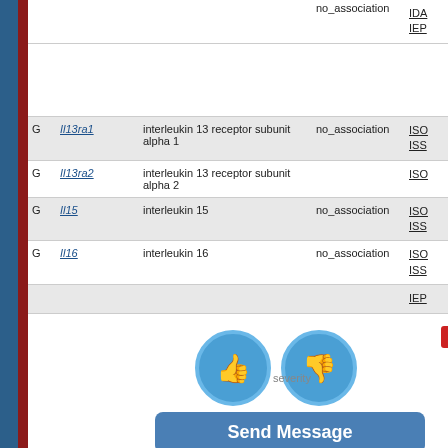|  | Gene | Description | Association | Evidence |  |
| --- | --- | --- | --- | --- | --- |
|  |  |  | no_association | IDA
IEP |  |
| G | Il13ra1 | interleukin 13 receptor subunit alpha 1 | no_association | ISO
ISS |  |
| G | Il13ra2 | interleukin 13 receptor subunit alpha 2 |  | ISO |  |
| G | Il15 | interleukin 15 | no_association | ISO
ISS |  |
| G | Il16 | interleukin 16 | no_association
severity | ISO
ISS |  |
|  |  |  |  | IEP |  |
[Figure (screenshot): Popup overlay with thumbs up and thumbs down circles, an X close button, severity text, and a Send Message button]